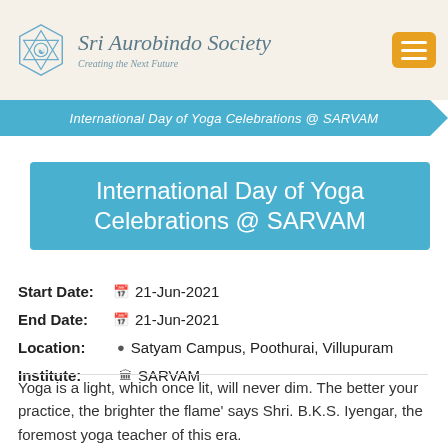Sri Aurobindo Society — Creating the Next Future
International Day of Yoga Celebrations @ SARVAM
International Day of Yoga Celebrations @ SARVAM
Start Date: 21-Jun-2021
End Date: 21-Jun-2021
Location: Satyam Campus, Poothurai, Villupuram
Institute: SARVAM
Yoga is a light, which once lit, will never dim. The better your practice, the brighter the flame' says Shri. B.K.S. Iyengar, the foremost yoga teacher of this era.